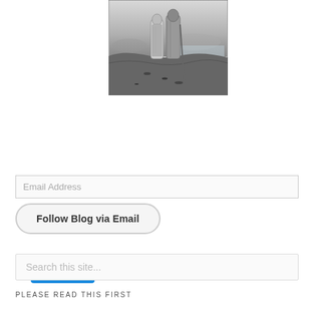[Figure (illustration): Black and white engraving of two robed figures standing on rocky ground overlooking a landscape, viewed from behind.]
[Figure (other): WordPress Follow button — blue rounded rectangle with white W logo and 'Follow' text.]
[Figure (other): Email Address input field — light gray bordered text box with placeholder 'Email Address'.]
[Figure (other): Follow Blog via Email button — gray rounded pill-shaped button.]
[Figure (other): Search this site... input field — light gray bordered text box with placeholder text.]
PLEASE READ THIS FIRST